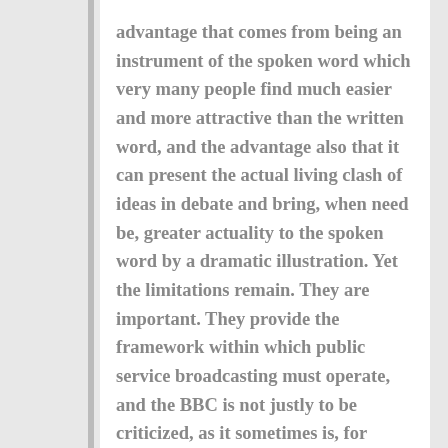advantage that comes from being an instrument of the spoken word which very many people find much easier and more attractive than the written word, and the advantage also that it can present the actual living clash of ideas in debate and bring, when need be, greater actuality to the spoken word by a dramatic illustration. Yet the limitations remain. They are important. They provide the framework within which public service broadcasting must operate, and the BBC is not justly to be criticized, as it sometimes is, for failing to do things which such a framework does not allow. But has it carried out its responsibilities within the realm of public service broadcasting as efficiently and